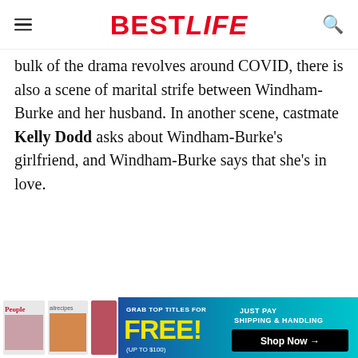BESTLIFE
bulk of the drama revolves around COVID, there is also a scene of marital strife between Windham-Burke and her husband. In another scene, castmate Kelly Dodd asks about Windham-Burke's girlfriend, and Windham-Burke says that she's in love.
ADVERTISEMENT
[Figure (other): Advertisement banner for magazine subscription offer — People, allrecipes magazines shown with 'Grab top titles for FREE! (Up to $100)' and 'Just Pay Shipping & Handling — Shop Now' call to action on a blue/teal gradient background.]